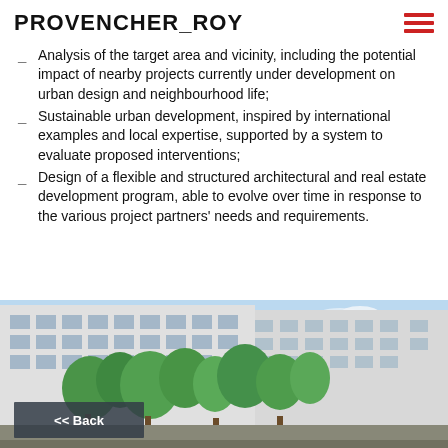PROVENCHER_ROY
Analysis of the target area and vicinity, including the potential impact of nearby projects currently under development on urban design and neighbourhood life;
Sustainable urban development, inspired by international examples and local expertise, supported by a system to evaluate proposed interventions;
Design of a flexible and structured architectural and real estate development program, able to evolve over time in response to the various project partners' needs and requirements.
[Figure (photo): Architectural rendering of a modern mixed-use building with white facades, balconies, and green trees in foreground, blue sky background. A '<< Back' navigation button overlays the lower left of the image.]